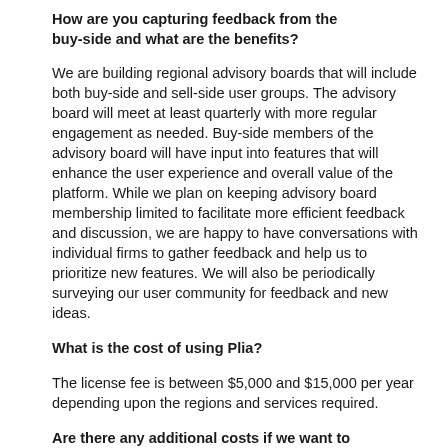How are you capturing feedback from the buy-side and what are the benefits?
We are building regional advisory boards that will include both buy-side and sell-side user groups. The advisory board will meet at least quarterly with more regular engagement as needed. Buy-side members of the advisory board will have input into features that will enhance the user experience and overall value of the platform. While we plan on keeping advisory board membership limited to facilitate more efficient feedback and discussion, we are happy to have conversations with individual firms to gather feedback and help us to prioritize new features. We will also be periodically surveying our user community for feedback and new ideas.
What is the cost of using Plia?
The license fee is between $5,000 and $15,000 per year depending upon the regions and services required.
Are there any additional costs if we want to customize or ask new questions that are not